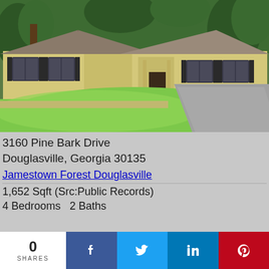[Figure (photo): Exterior photo of a single-story ranch-style house with yellow/tan siding, dark shutters, covered porch, large green lawn in foreground, and driveway to the right, surrounded by trees.]
3160 Pine Bark Drive
Douglasville, Georgia 30135
Jamestown Forest Douglasville
1,652 Sqft (Src:Public Records)
4 Bedrooms   2 Baths
0
SHARES